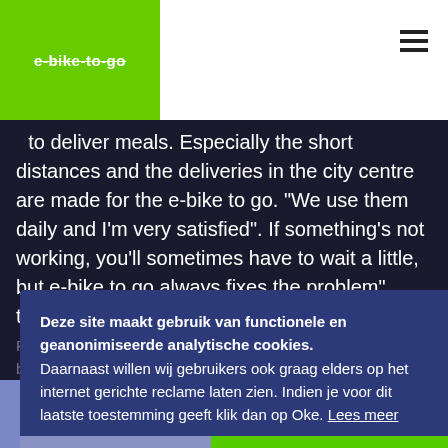e-bike-to-go
to deliver meals. Especially the short distances and the deliveries in the city centre are made for the e-bike to go. “We use them daily and I’m very satisfied”. If something’s not working, you’ll sometimes have to wait a little, but e-bike to go always fixes the problem”, thus Rishan. What about the delivery riders? “They love the e-bike, but secretly want them to go even faster. But hey, that’s how they’re designed”, laughs Rishan.
Rishan Gharib
Owner Subway Amersfoort
Deze site maakt gebruik van functionele en geanonimiseerde analytische cookies. Daarnaast willen wij gebruikers ook graag elders op het internet gerichte reclame laten zien. Indien je voor dit laatste toestemming geeft klik dan op Oke. Lees meer
Liever niet
Oke
E-bikes for your organization?